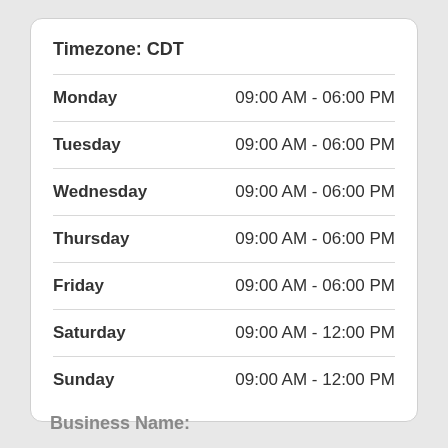| Day | Hours |
| --- | --- |
| Timezone: CDT |  |
| Monday | 09:00 AM - 06:00 PM |
| Tuesday | 09:00 AM - 06:00 PM |
| Wednesday | 09:00 AM - 06:00 PM |
| Thursday | 09:00 AM - 06:00 PM |
| Friday | 09:00 AM - 06:00 PM |
| Saturday | 09:00 AM - 12:00 PM |
| Sunday | 09:00 AM - 12:00 PM |
Business Name: